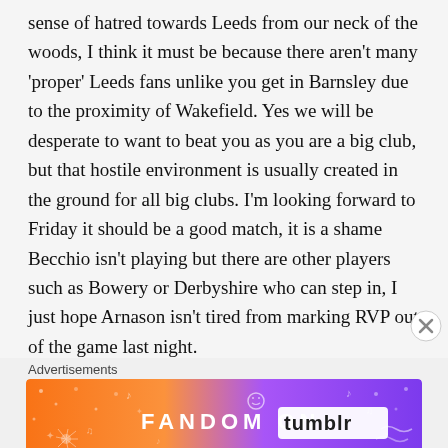sense of hatred towards Leeds from our neck of the woods, I think it must be because there aren't many 'proper' Leeds fans unlike you get in Barnsley due to the proximity of Wakefield. Yes we will be desperate to want to beat you as you are a big club, but that hostile environment is usually created in the ground for all big clubs. I'm looking forward to Friday it should be a good match, it is a shame Becchio isn't playing but there are other players such as Bowery or Derbyshire who can step in, I just hope Arnason isn't tired from marking RVP out of the game last night.
Advertisements
[Figure (other): Fandom on Tumblr advertisement banner with colorful orange-to-purple gradient background and decorative doodles]